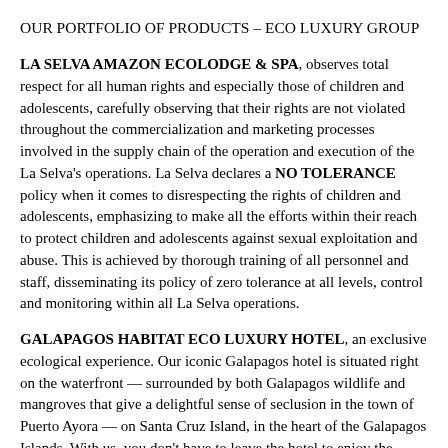OUR PORTFOLIO OF PRODUCTS – ECO LUXURY GROUP
LA SELVA AMAZON ECOLODGE & SPA, observes total respect for all human rights and especially those of children and adolescents, carefully observing that their rights are not violated throughout the commercialization and marketing processes involved in the supply chain of the operation and execution of the La Selva's operations. La Selva declares a NO TOLERANCE policy when it comes to disrespecting the rights of children and adolescents, emphasizing to make all the efforts within their reach to protect children and adolescents against sexual exploitation and abuse. This is achieved by thorough training of all personnel and staff, disseminating its policy of zero tolerance at all levels, control and monitoring within all La Selva operations.
GALAPAGOS HABITAT ECO LUXURY HOTEL, an exclusive ecological experience. Our iconic Galapagos hotel is situated right on the waterfront — surrounded by both Galapagos wildlife and mangroves that give a delightful sense of seclusion in the town of Puerto Ayora — on Santa Cruz Island, in the heart of the Galapagos Islands. With us, you don't have to leave the hotel to enjoy the wildlife spectacles that have made this archipelago famous the world over: sealions line one side of our wooden deck, marine iguanas scuttle by our restaurant and pelicans roost in the mangroves.